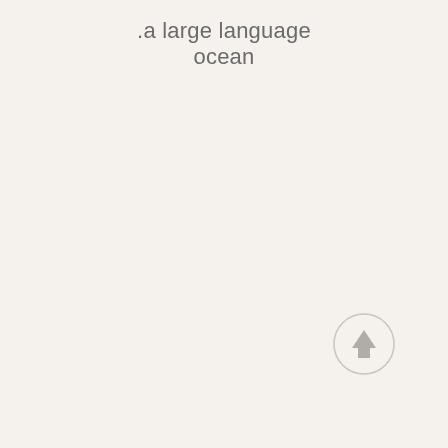.a large language ocean
[Figure (illustration): A circular scroll-to-top button with an upward-pointing arrow, light gray border circle with gray arrow icon, positioned in lower-right area of page]